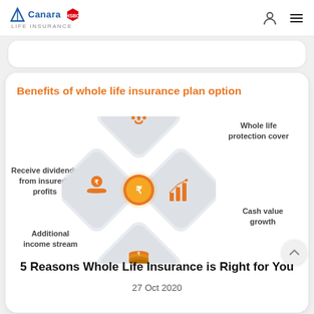Canara HSBC Life Insurance
[Figure (infographic): Diamond-shaped infographic with 4 quadrant icons (umbrella/people, coin on hand, bar chart, stacked coins) surrounding a central orange coin. Labels: Whole life protection cover, Receive dividends from insurer's profits, Cash value growth, Additional income stream.]
Benefits of whole life insurance plan option
5 Reasons Whole Life Insurance is Right for You
27 Oct 2020